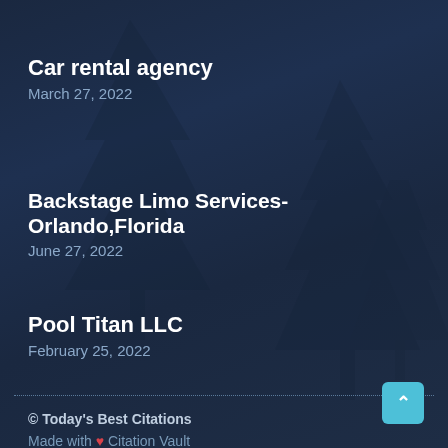Car rental agency
March 27, 2022
Backstage Limo Services-Orlando,Florida
June 27, 2022
Pool Titan LLC
February 25, 2022
© Today's Best Citations
Made with ❤ Citation Vault